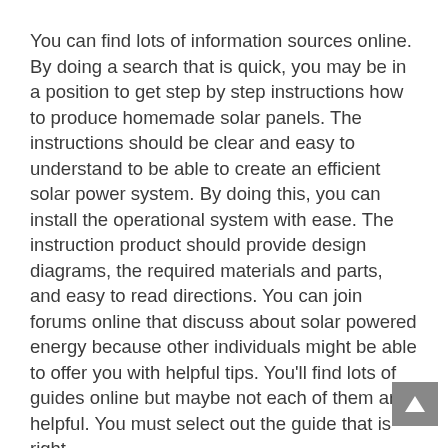You can find lots of information sources online. By doing a search that is quick, you may be in a position to get step by step instructions how to produce homemade solar panels. The instructions should be clear and easy to understand to be able to create an efficient solar power system. By doing this, you can install the operational system with ease. The instruction product should provide design diagrams, the required materials and parts, and easy to read directions. You can join forums online that discuss about solar powered energy because other individuals might be able to offer you with helpful tips. You'll find lots of guides online but maybe not each of them are helpful. You must select out the guide that is right.
Solar panels are not that expensive and you can expect to must make an amazing investment and from then on, it is possible to currently enjoy an unlimited way to obtai